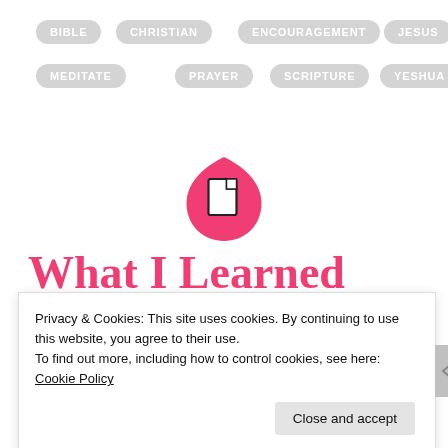BIBLE
CHRISTIAN
ENCOURAGEMENT
JESUS
MEDITATE
PRAYER
SCRIPTURE
YESHUA
[Figure (logo): Pink teardrop/shield icon with a white document/file icon inside]
What I Learned Reading Matthew
Privacy & Cookies: This site uses cookies. By continuing to use this website, you agree to their use.
To find out more, including how to control cookies, see here: Cookie Policy
Close and accept